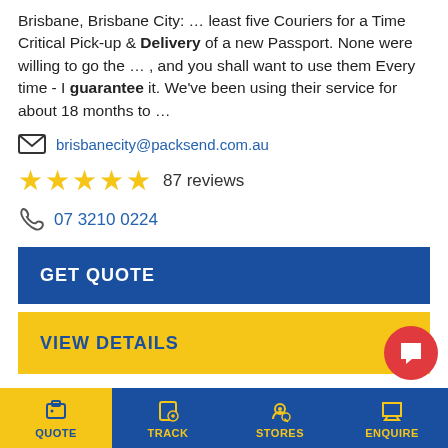Brisbane, Brisbane City: … least five Couriers for a Time Critical Pick-up & Delivery of a new Passport. None were willing to go the … , and you shall want to use them Every time - I guarantee it. We've been using their service for about 18 months to …
brisbanecity@packsend.com.au
87 reviews
07 3210 0224
GET QUOTE
VIEW DETAILS
PACK & SEND Welshpool
Unit 1/91 Leach Hwy, KEWDALE, WA, 6105
QUOTE | TRACK | STORES | ENQUIRE